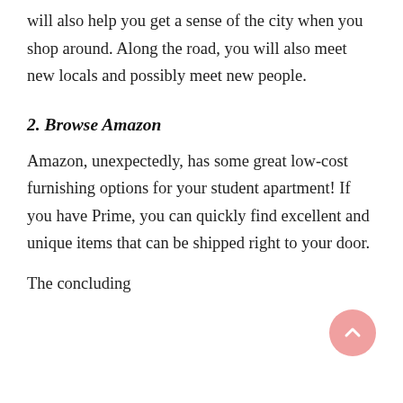will also help you get a sense of the city when you shop around. Along the road, you will also meet new locals and possibly meet new people.
2. Browse Amazon
Amazon, unexpectedly, has some great low-cost furnishing options for your student apartment! If you have Prime, you can quickly find excellent and unique items that can be shipped right to your door.
The concluding sentence of each section is cut off at the bottom of the page.